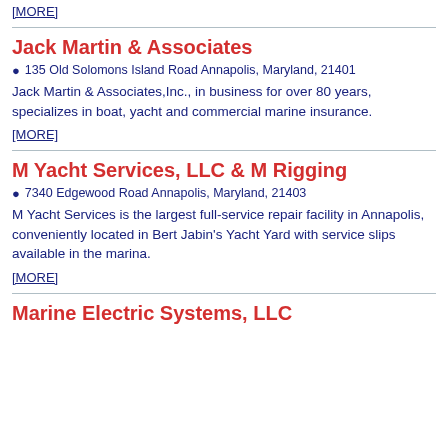[MORE]
Jack Martin & Associates
135 Old Solomons Island Road Annapolis, Maryland, 21401
Jack Martin & Associates,Inc., in business for over 80 years, specializes in boat, yacht and commercial marine insurance.
[MORE]
M Yacht Services, LLC & M Rigging
7340 Edgewood Road Annapolis, Maryland, 21403
M Yacht Services is the largest full-service repair facility in Annapolis, conveniently located in Bert Jabin's Yacht Yard with service slips available in the marina.
[MORE]
Marine Electric Systems, LLC